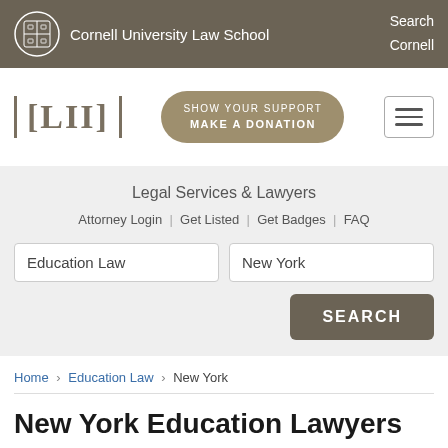Cornell University Law School | Search Cornell
[Figure (logo): LII Legal Information Institute logo with [LII] bracket style text and Show Your Support Make A Donation button]
Legal Services & Lawyers
Attorney Login | Get Listed | Get Badges | FAQ
Education Law [search field] | New York [search field] | SEARCH [button]
Home › Education Law › New York
New York Education Lawyers